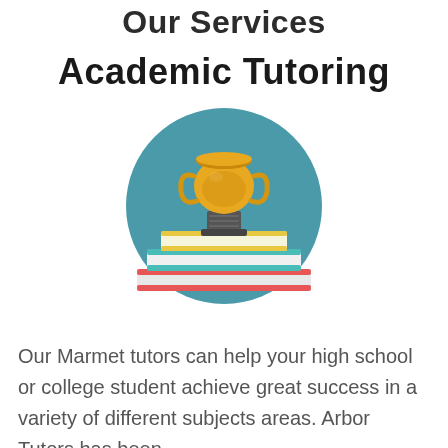Our Services
Academic Tutoring
[Figure (illustration): A circular teal illustration showing a gold trophy cup sitting on top of a stack of two books; the bottom book is red, the top book is white with teal spine; the trophy has ornate handles and sits on a dark grey pedestal base.]
Our Marmet tutors can help your high school or college student achieve great success in a variety of different subjects areas. Arbor Tutors has been